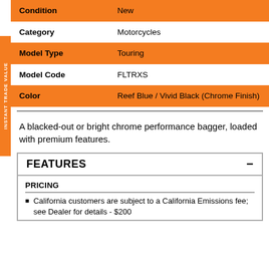| Field | Value |
| --- | --- |
| Condition | New |
| Category | Motorcycles |
| Model Type | Touring |
| Model Code | FLTRXS |
| Color | Reef Blue / Vivid Black (Chrome Finish) |
A blacked-out or bright chrome performance bagger, loaded with premium features.
FEATURES
PRICING
California customers are subject to a California Emissions fee; see Dealer for details - $200